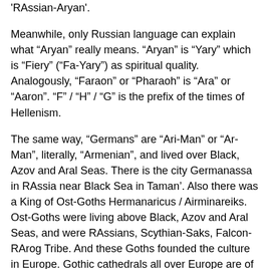'RAssian-Aryan'.
Meanwhile, only Russian language can explain what “Aryan” really means. “Aryan” is “Yary” which is “Fiery” (“Fa-Yary”) as spiritual quality. Analogously, “Faraon” or “Pharaoh” is “Ara” or “Aaron”. “F” / “H” / “G” is the prefix of the times of Hellenism.
The same way, “Germans” are “Ari-Man” or “Ar-Man”, literally, “Armenian”, and lived over Black, Azov and Aral Seas. There is the city Germanassa in RAssia near Black Sea in Taman’. Also there was a King of Ost-Goths Hermanaricus / Airminareiks. Ost-Goths were living above Black, Azov and Aral Seas, and were RAssians, Scythian-Saks, Falcon-RArog Tribe. And these Goths founded the culture in Europe. Gothic cathedrals all over Europe are of RAssian origin.